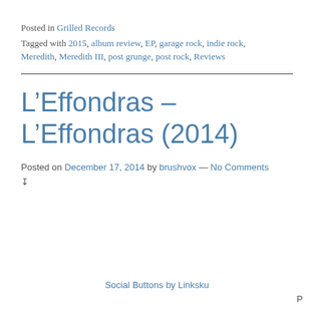Posted in Grilled Records
Tagged with 2015, album review, EP, garage rock, indie rock, Meredith, Meredith III, post grunge, post rock, Reviews
L'Effondras – L'Effondras (2014)
Posted on December 17, 2014 by brushvox — No Comments ↓
Social Buttons by Linksku
P